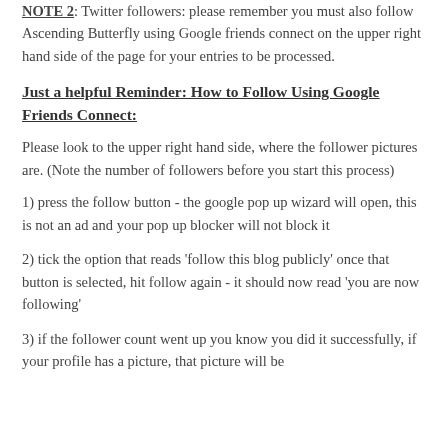NOTE 2: Twitter followers: please remember you must also follow Ascending Butterfly using Google friends connect on the upper right hand side of the page for your entries to be processed.
Just a helpful Reminder: How to Follow Using Google Friends Connect:
Please look to the upper right hand side, where the follower pictures are. (Note the number of followers before you start this process)
1) press the follow button - the google pop up wizard will open, this is not an ad and your pop up blocker will not block it
2) tick the option that reads 'follow this blog publicly' once that button is selected, hit follow again - it should now read 'you are now following'
3) if the follower count went up you know you did it successfully, if your profile has a picture, that picture will be